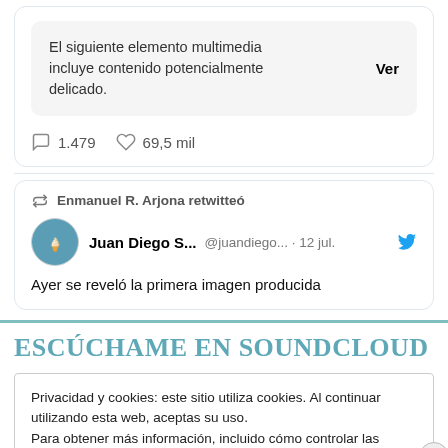El siguiente elemento multimedia incluye contenido potencialmente delicado.
Ver
1.479   69,5 mil
Enmanuel R. Arjona retwitteó
Juan Diego S...  @juandiego...  · 12 jul.
Ayer se reveló la primera imagen producida
ESCÚCHAME EN SOUNDCLOUD
Privacidad y cookies: este sitio utiliza cookies. Al continuar utilizando esta web, aceptas su uso.
Para obtener más información, incluido cómo controlar las cookies, consulta aquí: Política de cookies
Cerrar y aceptar